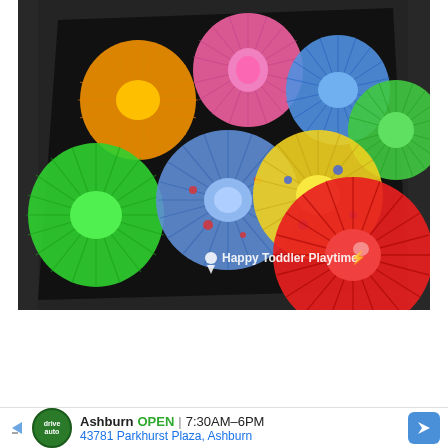[Figure (photo): Colorful paper cupcake liner flowers arranged on a black paper background on a dark granite surface. Multiple flowers in orange, green, pink, blue, yellow, and red with patterned centers. Watermark reads 'Happy Toddler Playtime'.]
Ashburn  OPEN | 7:30AM–6PM
43781 Parkhurst Plaza, Ashburn